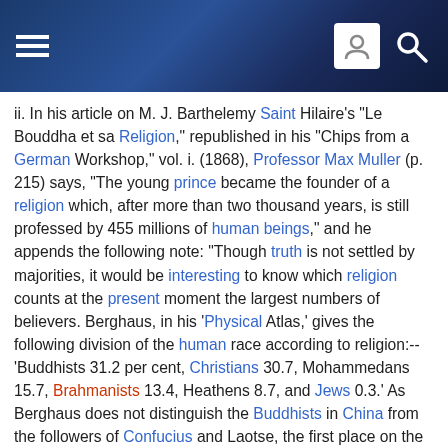Wikipedia-style article page header with navigation icons
ii. In his article on M. J. Barthelemy Saint Hilaire's "Le Bouddha et sa Religion," republished in his "Chips from a German Workshop," vol. i. (1868), Professor Max Muller (p. 215) says, "The young prince became the founder of a religion which, after more than two thousand years, is still professed by 455 millions of human beings," and he appends the following note: "Though truth is not settled by majorities, it would be interesting to know which religion counts at the present moment the largest numbers of believers. Berghaus, in his 'Physical Atlas,' gives the following division of the human race according to religion:--'Buddhists 31.2 per cent, Christians 30.7, Mohammedans 15.7, Brahmanists 13.4, Heathens 8.7, and Jews 0.3.' As Berghaus does not distinguish the Buddhists in China from the followers of Confucius and Laotse, the first place on the scale really belongs to Christianity. It is difficult to say to what religion a man belongs, as the same person may profess two or three. The emperor himself, after sacrificing according to the ritual of Confucius, visits a Tao-sse temple, and afterwards bows before an image of Fo in a Buddhist chapel. ('Melanges Asiatiques de St. Petersbourg,' vol. ii. p. 374.)"